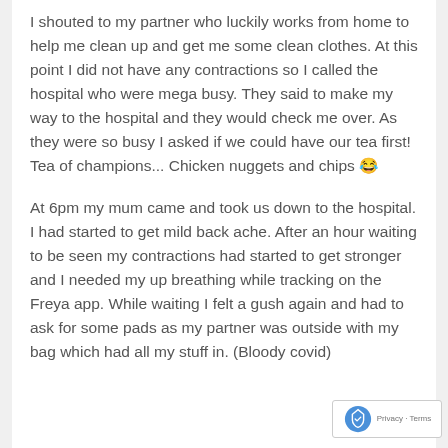I shouted to my partner who luckily works from home to help me clean up and get me some clean clothes. At this point I did not have any contractions so I called the hospital who were mega busy. They said to make my way to the hospital and they would check me over. As they were so busy I asked if we could have our tea first! Tea of champions... Chicken nuggets and chips 😂
At 6pm my mum came and took us down to the hospital. I had started to get mild back ache. After an hour waiting to be seen my contractions had started to get stronger and I needed my up breathing while tracking on the Freya app. While waiting I felt a gush again and had to ask for some pads as my partner was outside with my bag which had all my stuff in. (Bloody covid)